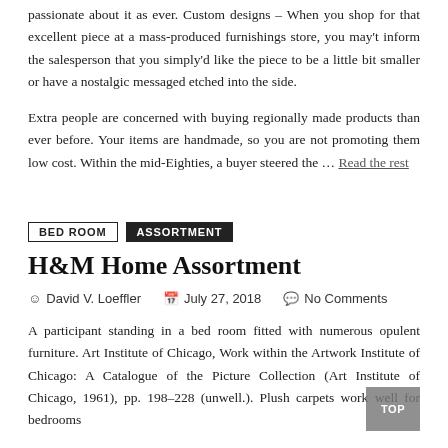passionate about it as ever. Custom designs – When you shop for that excellent piece at a mass-produced furnishings store, you may't inform the salesperson that you simply'd like the piece to be a little bit smaller or have a nostalgic messaged etched into the side.
Extra people are concerned with buying regionally made products than ever before. Your items are handmade, so you are not promoting them low cost. Within the mid-Eighties, a buyer steered the … Read the rest
BED ROOM
ASSORTMENT
H&M Home Assortment
David V. Loeffler   July 27, 2018   No Comments
A participant standing in a bed room fitted with numerous opulent furniture. Art Institute of Chicago, Work within the Artwork Institute of Chicago: A Catalogue of the Picture Collection (Art Institute of Chicago, 1961), pp. 198–228 (unwell.). Plush carpets work well for bedrooms